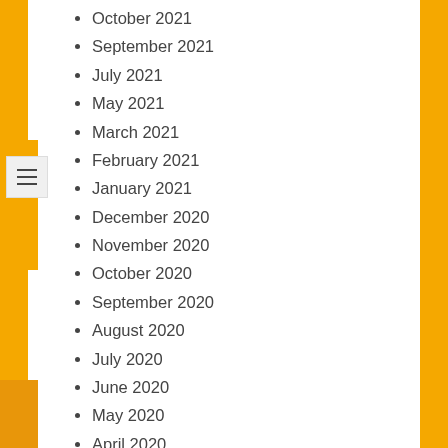October 2021
September 2021
July 2021
May 2021
March 2021
February 2021
January 2021
December 2020
November 2020
October 2020
September 2020
August 2020
July 2020
June 2020
May 2020
April 2020
March 2020
February 2020